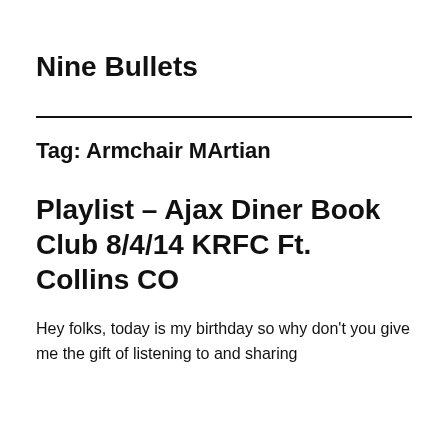Nine Bullets
Tag: Armchair MArtian
Playlist – Ajax Diner Book Club 8/4/14 KRFC Ft. Collins CO
Hey folks, today is my birthday so why don't you give me the gift of listening to and sharing